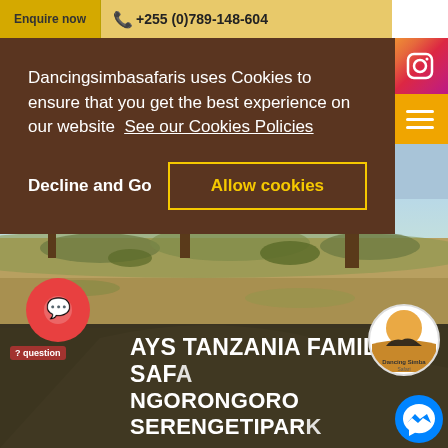Enquire now  +255 (0)789-148-604
Dancingsimbasafaris uses Cookies to ensure that you get the best experience on our website  See our Cookies Policies
Decline and Go    Allow cookies
[Figure (photo): African savanna landscape with acacia trees and open plains under a blue sky]
...AYS TANZANIA FAMILY SAFARI NGORONGORO SERENGETIPARK